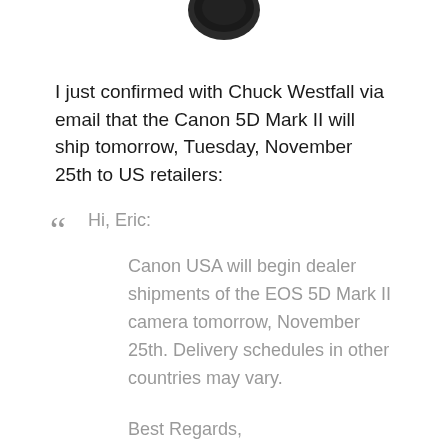[Figure (photo): Partial image of a camera lens cap, black circular object, cropped at the top of the page]
I just confirmed with Chuck Westfall via email that the Canon 5D Mark II will ship tomorrow, Tuesday, November 25th to US retailers:
“ Hi, Eric:
Canon USA will begin dealer shipments of the EOS 5D Mark II camera tomorrow, November 25th. Delivery schedules in other countries may vary.
Best Regards,